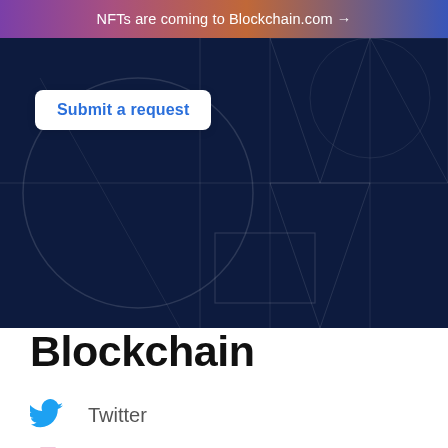NFTs are coming to Blockchain.com →
[Figure (screenshot): Dark navy hero section with geometric line pattern (circles, rectangles, triangles) and a white 'Submit a request' button in top-left]
Blockchain
Twitter
Instagram
Medium
Products
Resources